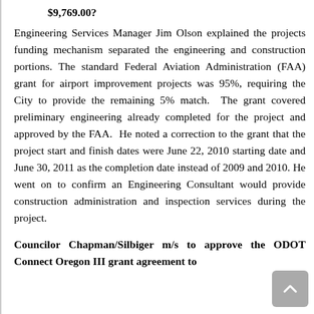$9,769.00?
Engineering Services Manager Jim Olson explained the projects funding mechanism separated the engineering and construction portions. The standard Federal Aviation Administration (FAA) grant for airport improvement projects was 95%, requiring the City to provide the remaining 5% match. The grant covered preliminary engineering already completed for the project and approved by the FAA. He noted a correction to the grant that the project start and finish dates were June 22, 2010 starting date and June 30, 2011 as the completion date instead of 2009 and 2010. He went on to confirm an Engineering Consultant would provide construction administration and inspection services during the project.
Councilor Chapman/Silbiger m/s to approve the ODOT Connect Oregon III grant agreement to